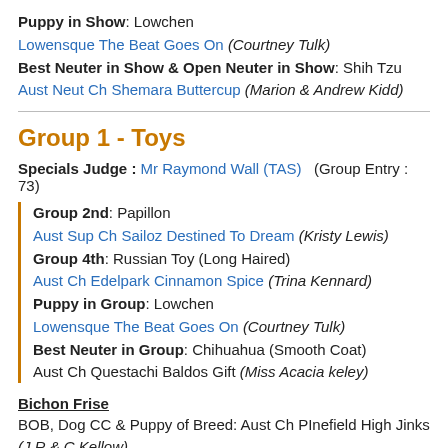Puppy in Show: Lowchen
Lowensque The Beat Goes On (Courtney Tulk)
Best Neuter in Show & Open Neuter in Show: Shih Tzu
Aust Neut Ch Shemara Buttercup (Marion & Andrew Kidd)
Group 1 - Toys
Specials Judge : Mr Raymond Wall (TAS)  (Group Entry : 73)
Group 2nd: Papillon
Aust Sup Ch Sailoz Destined To Dream (Kristy Lewis)
Group 4th: Russian Toy (Long Haired)
Aust Ch Edelpark Cinnamon Spice (Trina Kennard)
Puppy in Group: Lowchen
Lowensque The Beat Goes On (Courtney Tulk)
Best Neuter in Group: Chihuahua (Smooth Coat)
Aust Ch Questachi Baldos Gift (Miss Acacia keley)
Bichon Frise
BOB, Dog CC & Puppy of Breed: Aust Ch PInefield High Jinks (J R & C Kellow)
Cavalier King Charles Spaniel
Res Bitch CC: Aust Ch Matmor Thrill Of The Chase (Mr M Morse & Mr W